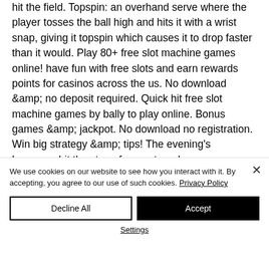hit the field. Topspin: an overhand serve where the player tosses the ball high and hits it with a wrist snap, giving it topspin which causes it to drop faster than it would. Play 80+ free slot machine games online! have fun with free slots and earn rewards points for casinos across the us. No download &amp; no deposit required. Quick hit free slot machine games by bally to play online. Bonus games &amp; jackpot. No download no registration. Win big strategy &amp; tips! The evening's honorees hit the stage for a set, and
We use cookies on our website to see how you interact with it. By accepting, you agree to our use of such cookies. Privacy Policy
Decline All
Accept
Settings